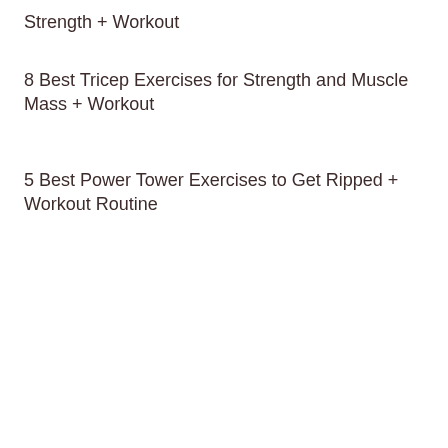Strength + Workout
8 Best Tricep Exercises for Strength and Muscle Mass + Workout
5 Best Power Tower Exercises to Get Ripped + Workout Routine